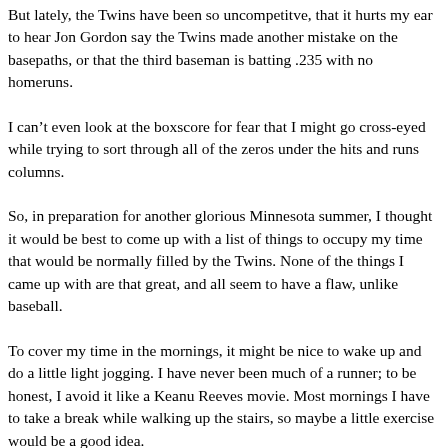But lately, the Twins have been so uncompetitve, that it hurts my ear to hear Jon Gordon say the Twins made another mistake on the basepaths, or that the third baseman is batting .235 with no homeruns.
I can't even look at the boxscore for fear that I might go cross-eyed while trying to sort through all of the zeros under the hits and runs columns.
So, in preparation for another glorious Minnesota summer, I thought it would be best to come up with a list of things to occupy my time that would be normally filled by the Twins. None of the things I came up with are that great, and all seem to have a flaw, unlike baseball.
To cover my time in the mornings, it might be nice to wake up and do a little light jogging. I have never been much of a runner; to be honest, I avoid it like a Keanu Reeves movie. Most mornings I have to take a break while walking up the stairs, so maybe a little exercise would be a good idea.
If I can afford it, maybe I will golf a little more. There are many challenging golf courses around this area, and quite a few that are affordable. The problem is I started golfing when Zubas were cool, and I can count the number of pars I've scored in my life without taking off my shoes and socks.
Every golfer could use a few more swings, and maybe a round or two...